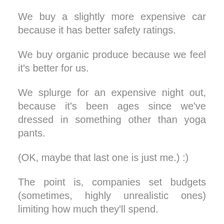We buy a slightly more expensive car because it has better safety ratings.
We buy organic produce because we feel it's better for us.
We splurge for an expensive night out, because it's been ages since we've dressed in something other than yoga pants.
(OK, maybe that last one is just me.) :)
The point is, companies set budgets (sometimes, highly unrealistic ones) limiting how much they'll spend.
But, like us, companies will make the call to spend more than expected... IF they